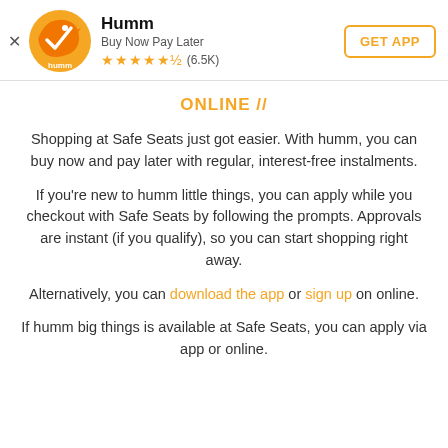Humm | Buy Now Pay Later | ★★★★½ (6.5K) | GET APP
ONLINE //
Shopping at Safe Seats just got easier. With humm, you can buy now and pay later with regular, interest-free instalments.
If you're new to humm little things, you can apply while you checkout with Safe Seats by following the prompts. Approvals are instant (if you qualify), so you can start shopping right away.
Alternatively, you can download the app or sign up on online.
If humm big things is available at Safe Seats, you can apply via app or online.